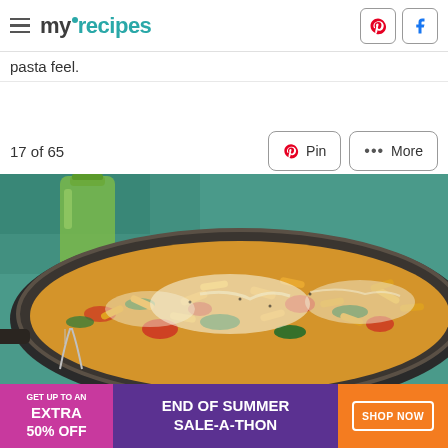myrecipes — with Pinterest and Facebook icons
pasta feel.
17 of 65
[Figure (photo): A cast-iron skillet filled with cheesy pasta with spinach and tomatoes, viewed from above on a teal/green surface with a glass bottle of olive oil in the background]
[Figure (infographic): Advertisement banner: GET UP TO AN EXTRA 50% OFF — END OF SUMMER SALE-A-THON — SHOP NOW button]